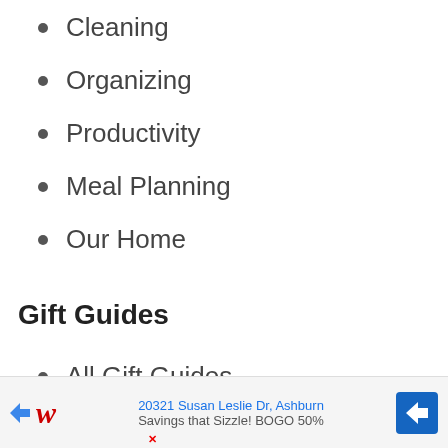Cleaning
Organizing
Productivity
Meal Planning
Our Home
Gift Guides
All Gift Guides
Stocking Stuffers
Easter Basket
[Figure (infographic): Advertisement banner for Walgreens at 20321 Susan Leslie Dr, Ashburn. Shows Walgreens logo, address, navigation arrow icon, and text 'Savings that Sizzle! BOGO 50%']